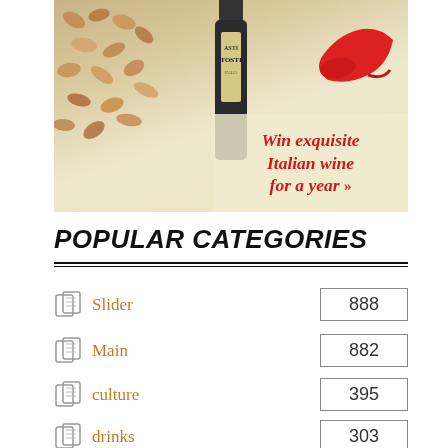[Figure (photo): Advertisement for Asti Tosti Italian wine featuring a wine bottle, corks, red high heel shoe, and text 'Win exquisite Italian wine for a year >>']
POPULAR CATEGORIES
Slider 888
Main 882
culture 395
drinks 303